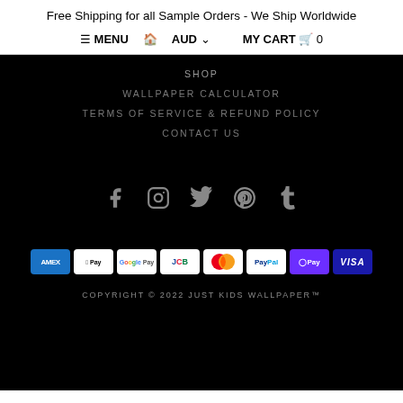Free Shipping for all Sample Orders - We Ship Worldwide
≡ MENU  ⌂  AUD ∨       MY CART  ▪  0
SHOP
WALLPAPER CALCULATOR
TERMS OF SERVICE & REFUND POLICY
CONTACT US
[Figure (illustration): Social media icons: Facebook, Instagram, Twitter, Pinterest, Tumblr]
[Figure (illustration): Payment method badges: AMEX, Apple Pay, Google Pay, JCB, Mastercard, PayPal, OPay, VISA]
COPYRIGHT © 2022 JUST KIDS WALLPAPER™